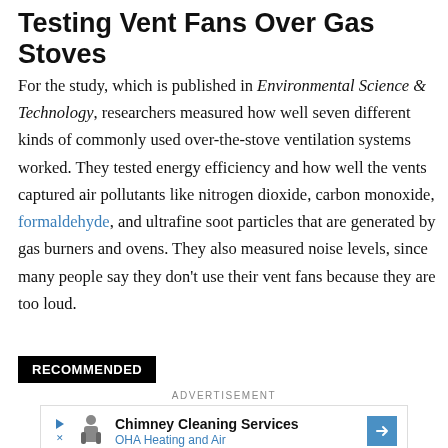Testing Vent Fans Over Gas Stoves
For the study, which is published in Environmental Science & Technology, researchers measured how well seven different kinds of commonly used over-the-stove ventilation systems worked. They tested energy efficiency and how well the vents captured air pollutants like nitrogen dioxide, carbon monoxide, formaldehyde, and ultrafine soot particles that are generated by gas burners and ovens. They also measured noise levels, since many people say they don't use their vent fans because they are too loud.
RECOMMENDED
ADVERTISEMENT
[Figure (other): Advertisement banner for Chimney Cleaning Services by OHA Heating and Air]